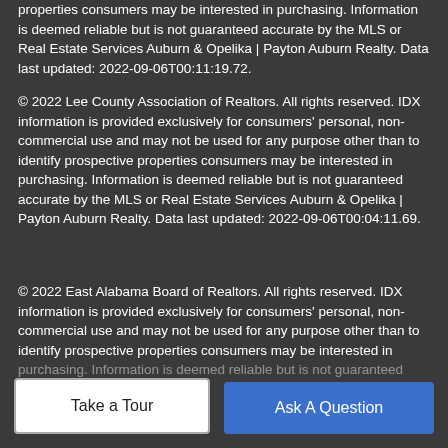properties consumers may be interested in purchasing. Information is deemed reliable but is not guaranteed accurate by the MLS or Real Estate Services Auburn & Opelika | Payton Auburn Realty. Data last updated: 2022-09-06T00:11:19.72.
© 2022 Lee County Association of Realtors. All rights reserved. IDX information is provided exclusively for consumers' personal, non-commercial use and may not be used for any purpose other than to identify prospective properties consumers may be interested in purchasing. Information is deemed reliable but is not guaranteed accurate by the MLS or Real Estate Services Auburn & Opelika | Payton Auburn Realty. Data last updated: 2022-09-06T00:04:11.69.
© 2022 East Alabama Board of Realtors. All rights reserved. IDX information is provided exclusively for consumers' personal, non-commercial use and may not be used for any purpose other than to identify prospective properties consumers may be interested in purchasing. Information is deemed reliable but is not guaranteed
Take a Tour
Ask A Question